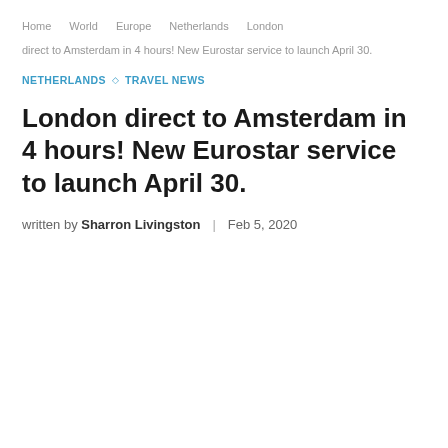Home   World   Europe   Netherlands   London
direct to Amsterdam in 4 hours! New Eurostar service to launch April 30.
NETHERLANDS ◇ TRAVEL NEWS
London direct to Amsterdam in 4 hours! New Eurostar service to launch April 30.
written by Sharron Livingston | Feb 5, 2020